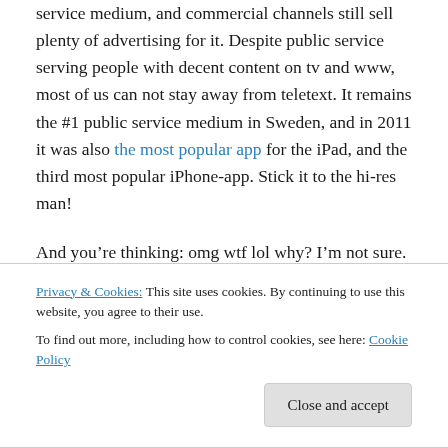service medium, and commercial channels still sell plenty of advertising for it. Despite public service serving people with decent content on tv and www, most of us can not stay away from teletext. It remains the #1 public service medium in Sweden, and in 2011 it was also the most popular app for the iPad, and the third most popular iPhone-app. Stick it to the hi-res man!
And you're thinking: omg wtf lol why? I'm not sure. But it's not due to a lack of fast internet. The access to high speed broadband internet is high around here, which indicates
Privacy & Cookies: This site uses cookies. By continuing to use this website, you agree to their use.
To find out more, including how to control cookies, see here: Cookie Policy
being.